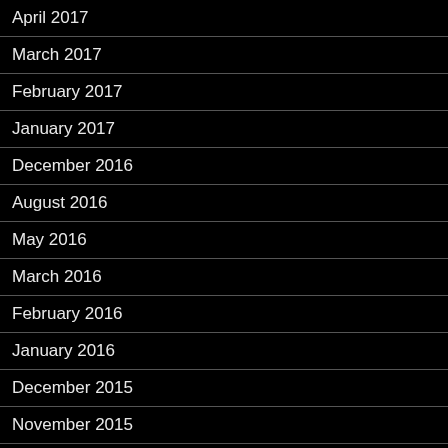April 2017
March 2017
February 2017
January 2017
December 2016
August 2016
May 2016
March 2016
February 2016
January 2016
December 2015
November 2015
October 2015